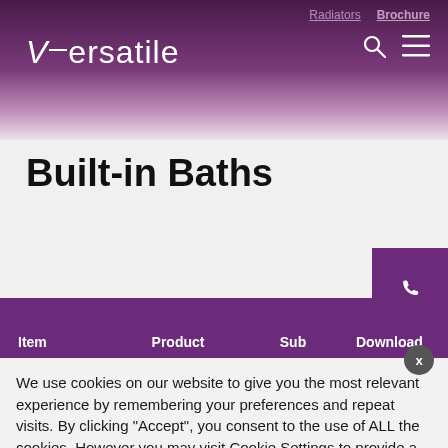Versatile — Radiators | Brochure
Built-in Baths
| Item | Product | Sub | Download |
| --- | --- | --- | --- |
We use cookies on our website to give you the most relevant experience by remembering your preferences and repeat visits. By clicking "Accept", you consent to the use of ALL the cookies. However you may visit Cookie Settings to provide a controlled consent. Read More
Cookie settings
REJECT
ACCEPT